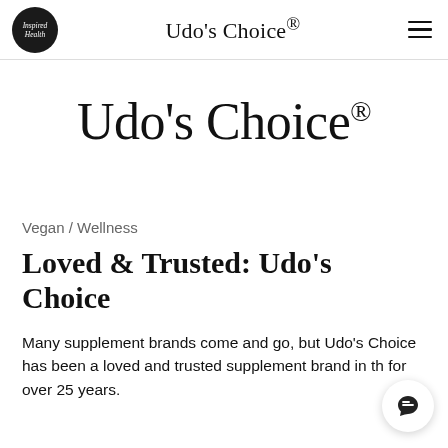Inspired Health  Udo's Choice®
[Figure (logo): Inspired Health circular logo in black with white italic text]
Udo's Choice®
Vegan / Wellness
Loved & Trusted: Udo's Choice
Many supplement brands come and go, but Udo's Choice has been a loved and trusted supplement brand in th for over 25 years.